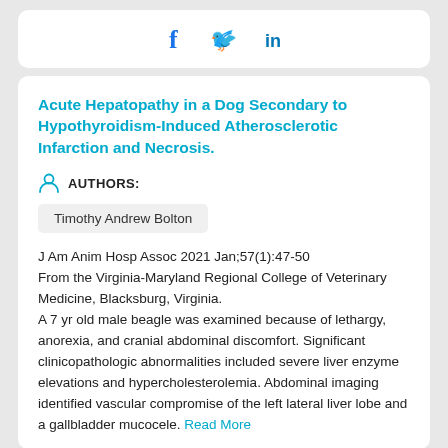[Figure (other): Social media share icons: Facebook (f), Twitter (bird), LinkedIn (in) in blue]
Acute Hepatopathy in a Dog Secondary to Hypothyroidism-Induced Atherosclerotic Infarction and Necrosis.
AUTHORS:
Timothy Andrew Bolton
J Am Anim Hosp Assoc 2021 Jan;57(1):47-50
From the Virginia-Maryland Regional College of Veterinary Medicine, Blacksburg, Virginia.
A 7 yr old male beagle was examined because of lethargy, anorexia, and cranial abdominal discomfort. Significant clinicopathologic abnormalities included severe liver enzyme elevations and hypercholesterolemia. Abdominal imaging identified vascular compromise of the left lateral liver lobe and a gallbladder mucocele. Read More